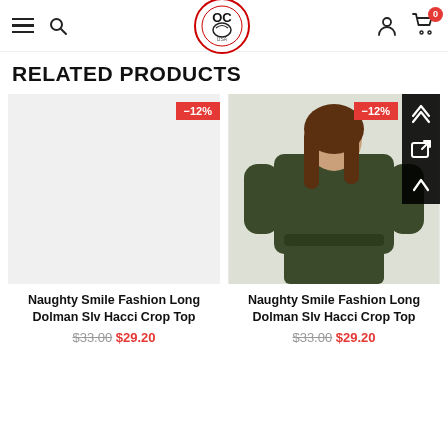Navigation header with hamburger menu, search, logo, user icon, cart (0)
RELATED PRODUCTS
[Figure (photo): Product card 1: Naughty Smile Fashion Long Dolman Slv Hacci Crop Top, -12% badge, white/empty product image placeholder]
[Figure (photo): Product card 2: Naughty Smile Fashion Long Dolman Slv Hacci Crop Top, -12% badge, woman wearing olive green long sleeve crop top with matching shorts]
Naughty Smile Fashion Long Dolman Slv Hacci Crop Top $33.00 $29.20
Naughty Smile Fashion Long Dolman Slv Hacci Crop Top $33.00 $29.20